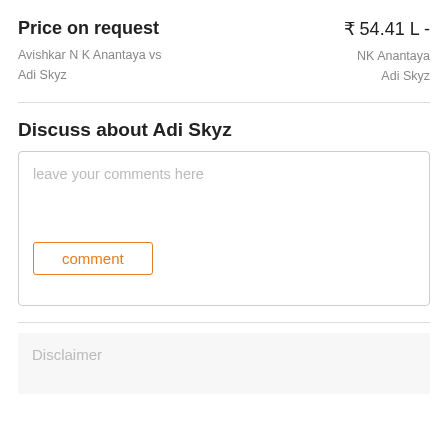Price on request
₹ 54.41 L -
Avishkar N K Anantaya vs
Adi Skyz
NK Anantaya
Adi Skyz
Discuss about Adi Skyz
leave your comments here
comment
Disclaimer